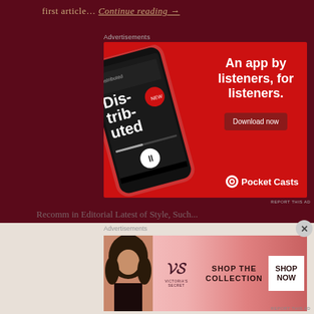first article… Continue reading →
Advertisements
[Figure (illustration): Pocket Casts app advertisement on red background showing a phone with the Distributed podcast app and text 'An app by listeners, for listeners.' with a Download now button and Pocket Casts logo]
REPORT THIS AD
Recomm in Editorial Latest of Style, Such...
Advertisements
[Figure (illustration): Victoria's Secret advertisement showing a woman with curly hair, Victoria's Secret logo, text 'SHOP THE COLLECTION' and 'SHOP NOW' button on pink/red gradient background]
REPORT THIS AD